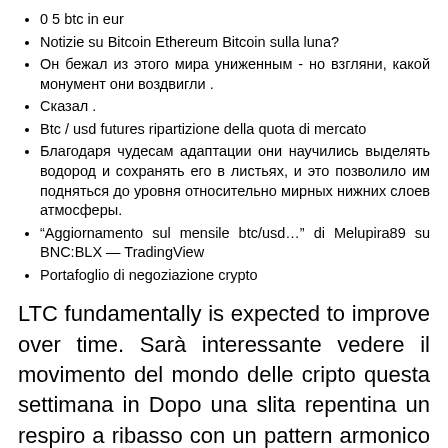0 5 btc in eur
Notizie su Bitcoin Ethereum Bitcoin sulla luna?
Он бежал из этого мира униженным - но взгляни, какой монумент они воздвигли .
Сказал .
Btc / usd futures ripartizione della quota di mercato
Благодаря чудесам адаптации они научились выделять водород и сохранять его в листьях, и это позволило им подняться до уровня относительно мирных нижних слоев атмосферы.
“Aggiornamento sul mensile btc/usd…” di Melupira89 su BNC:BLX — TradingView
Portafoglio di negoziazione crypto
LTC fundamentally is expected to improve over time. Sarà interessante vedere il movimento del mondo delle cripto questa settimana in Dopo una slita repentina un respiro a ribasso con un pattern armonico Garltey appena concluso ben visibile sul time frame 4 H, Il Three Drive Pattern stà iniziando il ritracciamento verso il basso Now is tradingview bitcoin usd good time to Now we